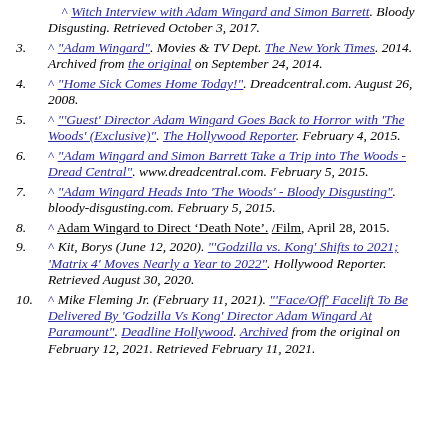^ "Witch Interview with Adam Wingard and Simon Barrett". Bloody Disgusting. Retrieved October 3, 2017.
^ "Adam Wingard". Movies & TV Dept. The New York Times. 2014. Archived from the original on September 24, 2014.
^ "Home Sick Comes Home Today!". Dreadcentral.com. August 26, 2008.
^ "'Guest' Director Adam Wingard Goes Back to Horror with 'The Woods' (Exclusive)". The Hollywood Reporter. February 4, 2015.
^ "Adam Wingard and Simon Barrett Take a Trip into The Woods - Dread Central". www.dreadcentral.com. February 5, 2015.
^ "Adam Wingard Heads Into 'The Woods' - Bloody Disgusting". bloody-disgusting.com. February 5, 2015.
^ Adam Wingard to Direct ‘Death Note’. /Film, April 28, 2015.
^ Kit, Borys (June 12, 2020). "'Godzilla vs. Kong' Shifts to 2021; 'Matrix 4' Moves Nearly a Year to 2022". Hollywood Reporter. Retrieved August 30, 2020.
^ Mike Fleming Jr. (February 11, 2021). "'Face/Off' Facelift To Be Delivered By 'Godzilla Vs Kong' Director Adam Wingard At Paramount". Deadline Hollywood. Archived from the original on February 12, 2021. Retrieved February 11, 2021.